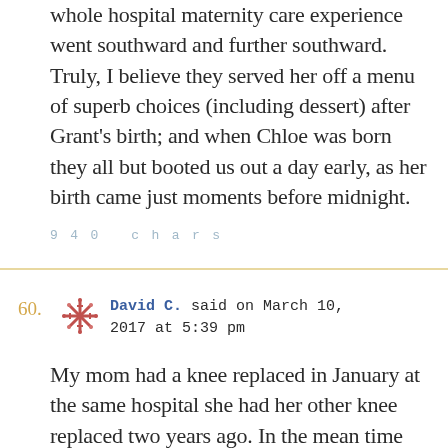whole hospital maternity care experience went southward and further southward. Truly, I believe they served her off a menu of superb choices (including dessert) after Grant's birth; and when Chloe was born they all but booted us out a day early, as her birth came just moments before midnight.
940 chars
60.
[Figure (illustration): Decorative avatar icon with a snowflake/asterisk pattern in red/pink tones]
David C. said on March 10, 2017 at 5:39 pm
My mom had a knee replaced in January at the same hospital she had her other knee replaced two years ago. In the mean time though, the small city hospital had